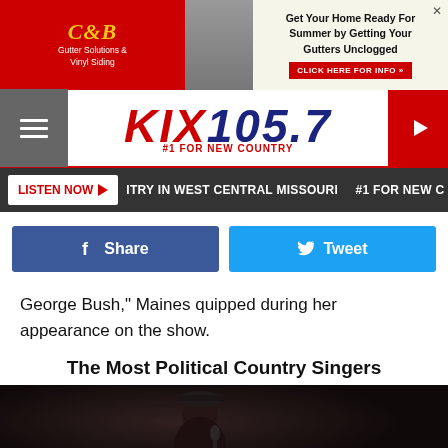[Figure (screenshot): Top advertisement banner: C&B Gutter Solutions & Vinyl Siding (red background, yellow logo) on left, grey center panel, right panel with 'Get Your Home Ready For Summer by Getting Your Gutters Unclogged' and red CLICK HERE FOR INFO button]
[Figure (logo): KIX 105.7 radio station header logo — red KIX text, navy blue 105.7, tagline #1 FOR NEW COUNTRY in red, hamburger menu on left grey panel, red play button circle on right]
[Figure (screenshot): Dark navigation bar with white LISTEN NOW button (red text, play arrow) and white text: ITRY IN WEST CENTRAL MISSOURI  #1 FOR NEW C]
[Figure (screenshot): Social sharing buttons row: dark blue Facebook Share button and cyan Twitter Tweet button]
George Bush," Maines quipped during her appearance on the show.
The Most Political Country Singers
[Figure (photo): Dark concert photo of a female performer singing into a microphone, wearing a cap, against a black background]
[Figure (screenshot): Bottom advertisement: Green GAS logo on left, yellow truck center panel, blue right panel with 'WATCH FOR THE BIG YELLOW TRUCK' and green CALL US NOW! button, X close button]